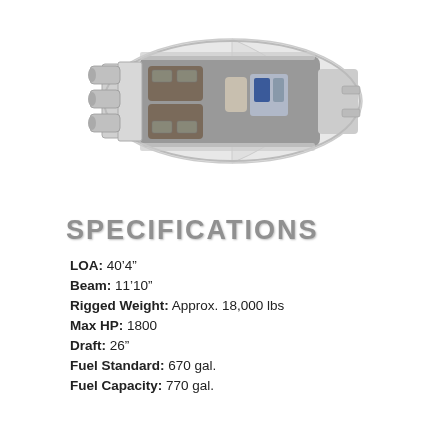[Figure (illustration): Top-down overhead view of a large center console boat showing deck layout with seating, helm console, and multiple outboard motors on the transom.]
SPECIFICATIONS
LOA: 40'4"
Beam: 11'10"
Rigged Weight: Approx. 18,000 lbs
Max HP: 1800
Draft: 26"
Fuel Standard: 670 gal.
Fuel Capacity: 770 gal.